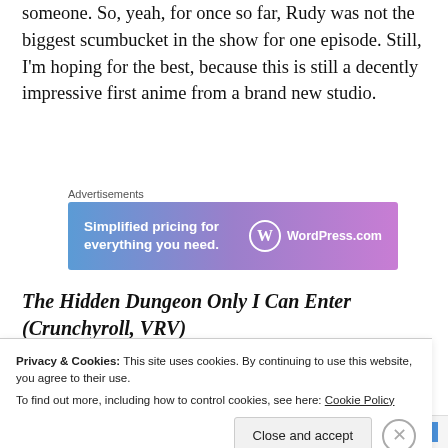someone. So, yeah, for once so far, Rudy was not the biggest scumbucket in the show for one episode. Still, I'm hoping for the best, because this is still a decently impressive first anime from a brand new studio.
[Figure (other): WordPress.com advertisement banner with gradient blue-to-purple background. Text: 'Simplified pricing for everything you need.' with WordPress.com logo.]
The Hidden Dungeon Only I Can Enter (Crunchyroll, VRV)
Privacy & Cookies: This site uses cookies. By continuing to use this website, you agree to their use.
To find out more, including how to control cookies, see here: Cookie Policy
Close and accept